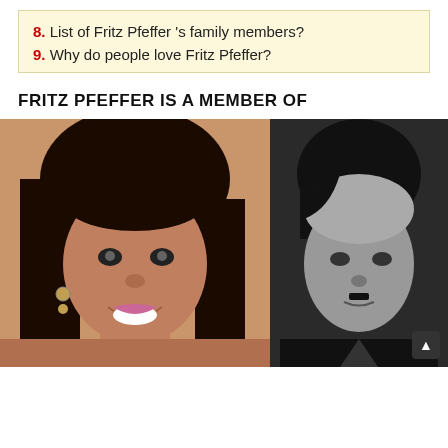8. List of Fritz Pfeffer 's family members?
9. Why do people love Fritz Pfeffer?
FRITZ PFEFFER IS A MEMBER OF
[Figure (photo): Two portrait photos side by side: left is a woman with dark hair and a bright smile wearing hoop earrings; right is a black-and-white historical portrait of a man in dark clothing.]